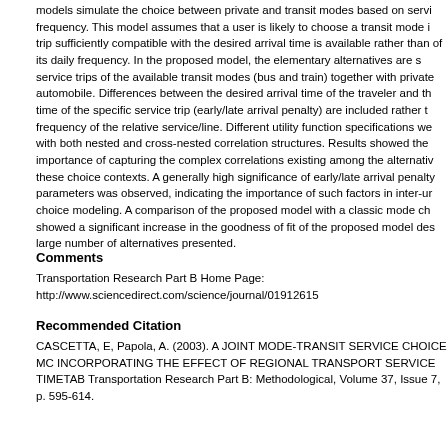models simulate the choice between private and transit modes based on service frequency. This model assumes that a user is likely to choose a transit mode if a trip sufficiently compatible with the desired arrival time is available rather than because of its daily frequency. In the proposed model, the elementary alternatives are specific service trips of the available transit modes (bus and train) together with private automobile. Differences between the desired arrival time of the traveler and the arrival time of the specific service trip (early/late arrival penalty) are included rather than the frequency of the relative service/line. Different utility function specifications were tested with both nested and cross-nested correlation structures. Results showed the importance of capturing the complex correlations existing among the alternatives in these choice contexts. A generally high significance of early/late arrival penalty parameters was observed, indicating the importance of such factors in inter-urban choice modeling. A comparison of the proposed model with a classic mode choice model showed a significant increase in the goodness of fit of the proposed model despite the large number of alternatives presented.
Comments
Transportation Research Part B Home Page: http://www.sciencedirect.com/science/journal/01912615
Recommended Citation
CASCETTA, E, Papola, A. (2003). A JOINT MODE-TRANSIT SERVICE CHOICE MODEL INCORPORATING THE EFFECT OF REGIONAL TRANSPORT SERVICE TIMETABLES. Transportation Research Part B: Methodological, Volume 37, Issue 7, p. 595-614.